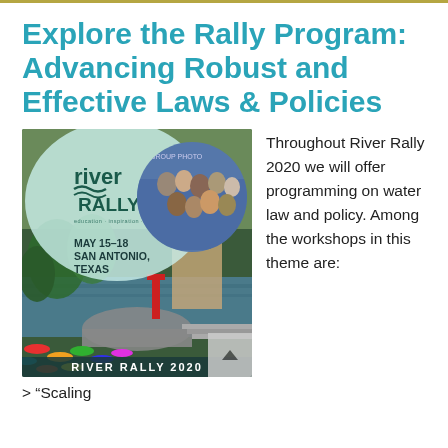Explore the Rally Program: Advancing Robust and Effective Laws & Policies
[Figure (photo): River Rally 2020 event promotional image showing the River Rally logo, dates May 15-18, San Antonio, Texas, a group photo of conference attendees, and a scenic photo of the San Antonio River Walk with colorful umbrellas and a bridge. Text at bottom reads RIVER RALLY 2020.]
Throughout River Rally 2020 we will offer programming on water law and policy. Among the workshops in this theme are:
> “Scaling